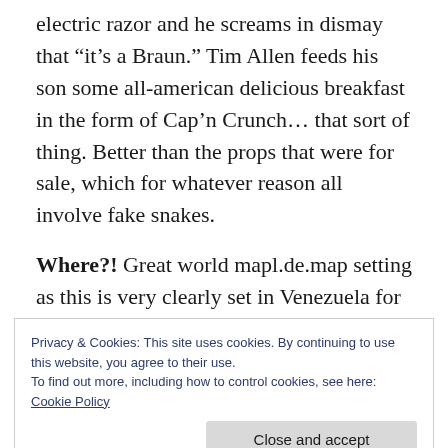electric razor and he screams in dismay that “it’s a Braun.” Tim Allen feeds his son some all-american delicious breakfast in the form of Cap’n Crunch… that sort of thing. Better than the props that were for sale, which for whatever reason all involve fake snakes.
Where?! Great world mapl.de.map setting as this is very clearly set in Venezuela for a surprising amount of the film. The other
Privacy & Cookies: This site uses cookies. By continuing to use this website, you agree to their use.
To find out more, including how to control cookies, see here:
Cookie Policy
Venezuela.